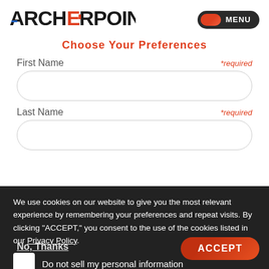ARCHERPOINT — MENU
Choose Your Preferences
First Name *required
Last Name *required
Email *required
We use cookies on our website to give you the most relevant experience by remembering your preferences and repeat visits. By clicking "ACCEPT," you consent to the use of the cookies listed in our Privacy Policy.
Do not sell my personal information
Subscription Options
No, Thanks
ACCEPT
Better Business Newsletter